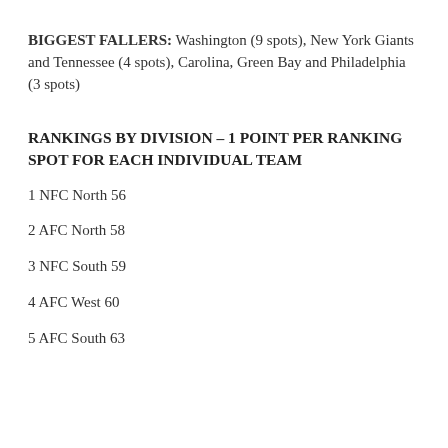BIGGEST FALLERS: Washington (9 spots), New York Giants and Tennessee (4 spots), Carolina, Green Bay and Philadelphia (3 spots)
RANKINGS BY DIVISION – 1 POINT PER RANKING SPOT FOR EACH INDIVIDUAL TEAM
1 NFC North 56
2 AFC North 58
3 NFC South 59
4 AFC West 60
5 AFC South 63